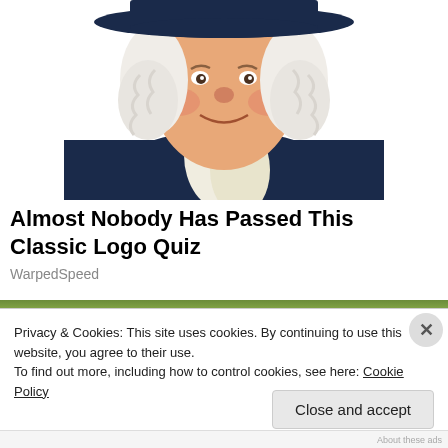[Figure (illustration): Illustration of the Quaker Oats man mascot — a smiling, chubby-cheeked man with white curly hair wearing a dark navy colonial-era hat and coat with a white cravat, shown from the waist up against a white background.]
Almost Nobody Has Passed This Classic Logo Quiz
WarpedSpeed
Privacy & Cookies: This site uses cookies. By continuing to use this website, you agree to their use.
To find out more, including how to control cookies, see here: Cookie Policy
Close and accept